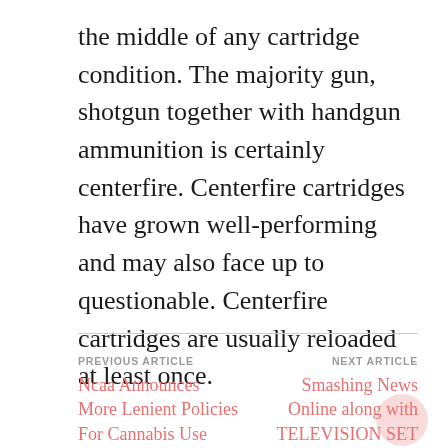the middle of any cartridge condition. The majority gun, shotgun together with handgun ammunition is certainly centerfire. Centerfire cartridges have grown well-performing and may also face up to questionable. Centerfire cartridges are usually reloaded at least once.
PREVIOUS ARTICLE
Ncaa Announces More Lenient Policies For Cannabis Use Among
NEXT ARTICLE
Smashing News Online along with TELEVISION SET